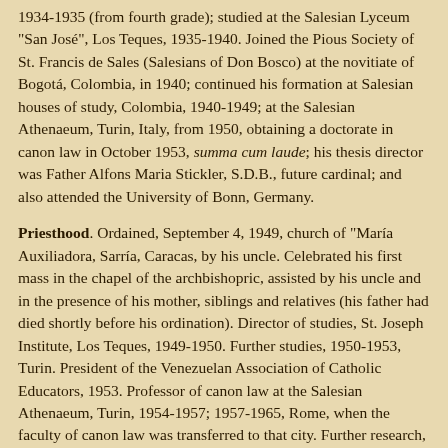1934-1935 (from fourth grade); studied at the Salesian Lyceum "San José", Los Teques, 1935-1940. Joined the Pious Society of St. Francis de Sales (Salesians of Don Bosco) at the novitiate of Bogotá, Colombia, in 1940; continued his formation at Salesian houses of study, Colombia, 1940-1949; at the Salesian Athenaeum, Turin, Italy, from 1950, obtaining a doctorate in canon law in October 1953, summa cum laude; his thesis director was Father Alfons Maria Stickler, S.D.B., future cardinal; and also attended the University of Bonn, Germany.
Priesthood. Ordained, September 4, 1949, church of "María Auxiliadora, Sarría, Caracas, by his uncle. Celebrated his first mass in the chapel of the archbishopric, assisted by his uncle and in the presence of his mother, siblings and relatives (his father had died shortly before his ordination). Director of studies, St. Joseph Institute, Los Teques, 1949-1950. Further studies, 1950-1953, Turin. President of the Venezuelan Association of Catholic Educators, 1953. Professor of canon law at the Salesian Athenaeum, Turin, 1954-1957; 1957-1965, Rome, when the faculty of canon law was transferred to that city. Further research, 1962, Bonn. Numerary member of the Institute of Research and Study in Medieval Law, Toronto. Provincial of the Salesian Society in Venezuela, January 1966-August 1967; regional assistant of congregation for Latin America, Southern Cone, 1967-1971; general counselor for pastoral care for youth, 1971-1973.